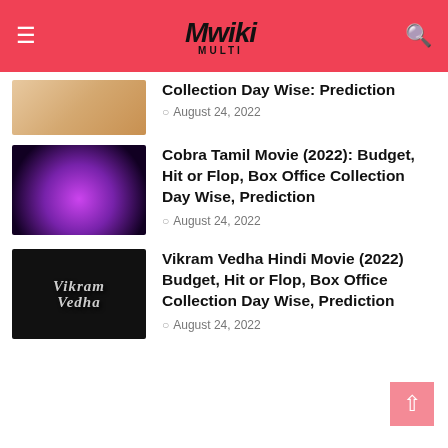Mwiki
Collection Day Wise: Prediction
August 24, 2022
Cobra Tamil Movie (2022): Budget, Hit or Flop, Box Office Collection Day Wise, Prediction
August 24, 2022
Vikram Vedha Hindi Movie (2022) Budget, Hit or Flop, Box Office Collection Day Wise, Prediction
August 24, 2022